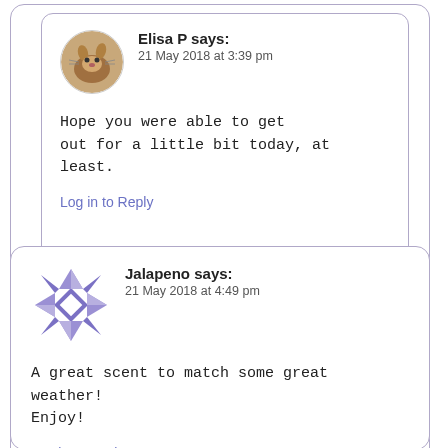Elisa P says: 21 May 2018 at 3:39 pm
Hope you were able to get out for a little bit today, at least.
Log in to Reply
Jalapeno says: 21 May 2018 at 4:49 pm
A great scent to match some great weather! Enjoy!
Log in to Reply